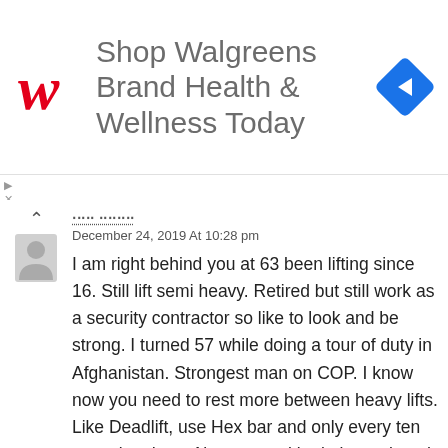[Figure (other): Walgreens advertisement banner showing Walgreens logo (red cursive W), text 'Shop Walgreens Brand Health & Wellness Today', and a blue diamond navigation arrow icon]
Martin Bernstein
December 24, 2019 At 10:28 pm
I am right behind you at 63 been lifting since 16. Still lift semi heavy. Retired but still work as a security contractor so like to look and be strong. I turned 57 while doing a tour of duty in Afghanistan. Strongest man on COP. I know now you need to rest more between heavy lifts. Like Deadlift, use Hex bar and only every ten to twelve days. Also use multi grip bar to bench every other workout. Mark Bell slingshot really helps form. Smart training is the secret after 60
Reply